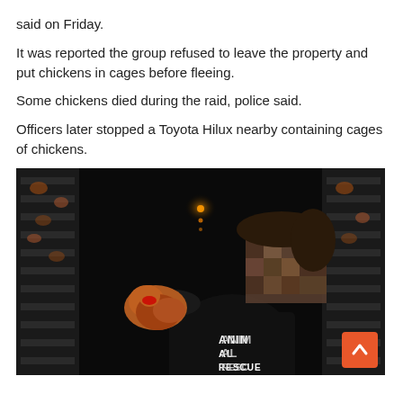said on Friday.
It was reported the group refused to leave the property and put chickens in cages before fleeing.
Some chickens died during the raid, police said.
Officers later stopped a Toyota Hilux nearby containing cages of chickens.
[Figure (photo): A person wearing a black 'ANIMAL RESCUE' top holding chickens inside a large dark poultry shed with rows of cages on both sides. A warm light glows in the background. The person's face is pixelated/blurred.]